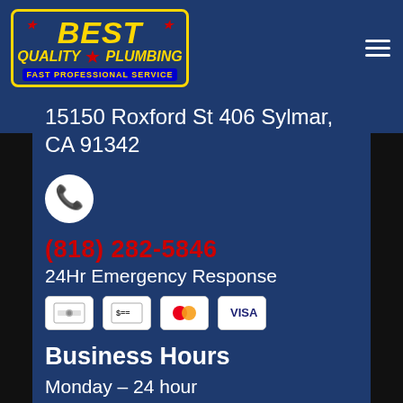[Figure (logo): Best Quality Plumbing logo with yellow text, red stars, and blue tagline banner reading FAST PROFESSIONAL SERVICE]
15150 Roxford St 406 Sylmar, CA 91342
[Figure (illustration): White circle with red phone handset icon]
(818) 282-5846
24Hr Emergency Response
[Figure (illustration): Four payment method icons: cash/bill, check/dollar, Mastercard, Visa]
Business Hours
Monday – 24 hour